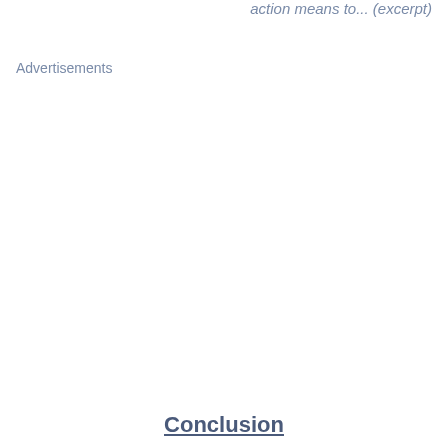action means to... (excerpt)
Advertisements
Conclusion